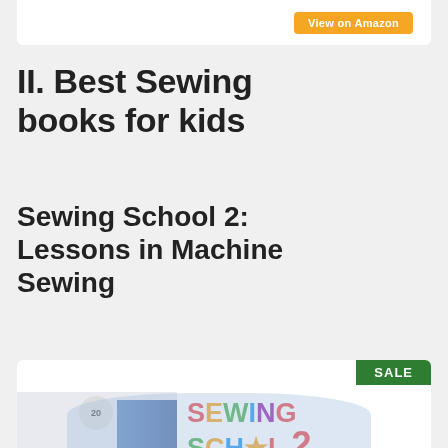[Figure (other): Orange 'View on Amazon' button at top of white card]
II. Best Sewing books for kids
Sewing School 2: Lessons in Machine Sewing
[Figure (photo): Book cover of 'Sewing School 2: Lessons in Machine Sewing' with colorful lettering and a child, with a green SALE badge in the top right corner]